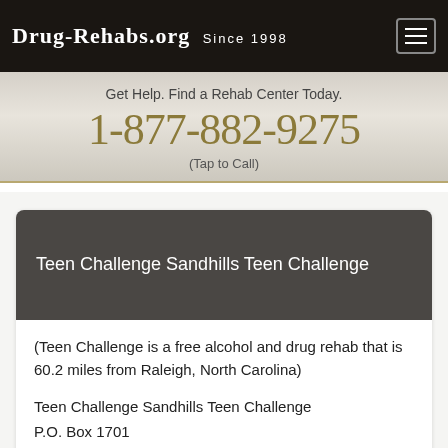Drug-Rehabs.org Since 1998
Get Help. Find a Rehab Center Today.
1-877-882-9275
(Tap to Call)
Teen Challenge Sandhills Teen Challenge
(Teen Challenge is a free alcohol and drug rehab that is 60.2 miles from Raleigh, North Carolina)
Teen Challenge Sandhills Teen Challenge
P.O. Box 1701
Southern Pines, NC. 28388
(910) 947-2944